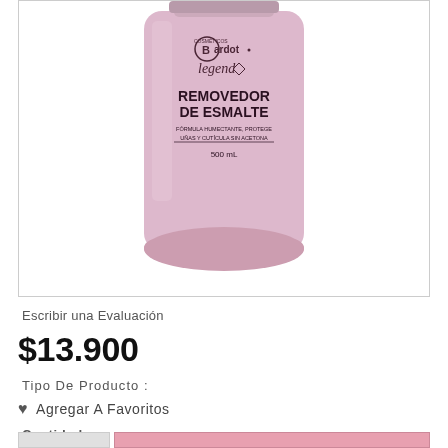[Figure (photo): Pink bottle of Bardot Legend nail polish remover (Removedor de Esmalte), 500 mL, formula humectante, without acetone, displayed against white background inside a bordered box.]
Escribir una Evaluación
$13.900
Tipo De Producto :
♥  Agregar A Favoritos
Cantidad